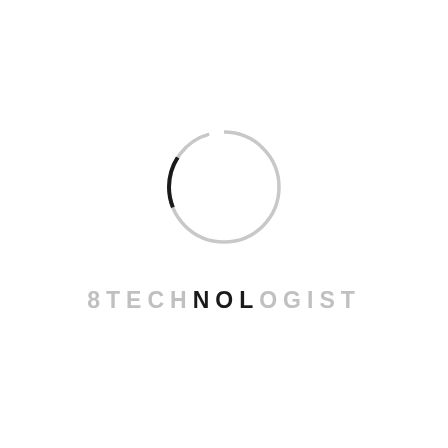[Figure (logo): 8TECHNOLOGIST logo: a circle outline (mostly light gray with a dark black arc segment at the bottom-right), above the text '8TECHNOLOGIST' in spaced letters where most letters are light gray but 'N', 'O', 'L' are darker/black.]